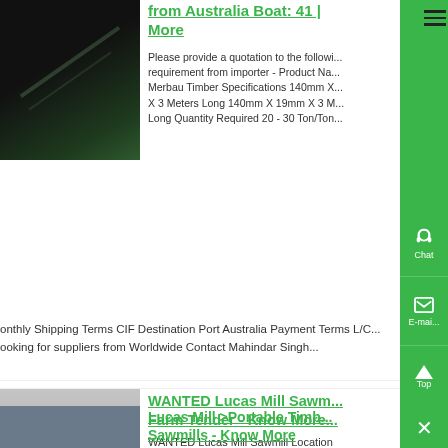[Figure (photo): Dark industrial/timber image, partial at top]
from Australia Boat: 41 | More
Please provide a quotation to the following requirement from importer - Product Name: Merbau Timber Specifications 140mm X ... X 3 Meters Long 140mm X 19mm X 3 M... Long Quantity Required 20 - 30 Ton/Ton... Monthly Shipping Terms CIF Destination Port Australia Payment Terms L/C... looking for suppliers from Worldwide Contact Mahindar Singh...
[Figure (photo): Industrial machine/crusher in warehouse]
WANTED Lucas Mill Sawmill - Farm Tender - Know More
WANTED Lucas Mill Sawmill Location Gisborne, Central, VIC Want to buy Lucas Sawmill...
[Figure (photo): Sawmill/timber machinery]
Lucas Mill >Portable Timber Sawmills - Know More
Portable Timber Sawmills In this section...